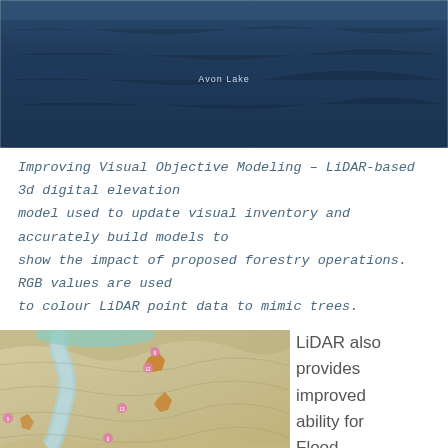[Figure (photo): Aerial photograph of Avon Lake showing a dark blue water surface with subtle wave texture and a label reading 'Avon Lake' in the center.]
Improving Visual Objective Modeling – LiDAR-based 3d digital elevation model used to update visual inventory and accurately build models to show the impact of proposed forestry operations. RGB values are used to colour LiDAR point data to mimic trees.
[Figure (map): Topographic map showing terrain with contour shading, river/water features in light blue, vegetation or wetland areas in teal, and small orange/brown polygons representing areas of interest, with pink numbered labels.]
LiDAR also provides improved ability for Flood Mapping modeling –